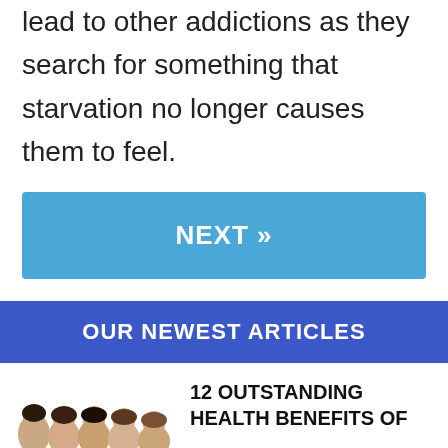lead to other addictions as they search for something that starvation no longer causes them to feel.
NEXT »
OUR NEWEST ARTICLES
[Figure (photo): Row of five women's faces/headshots]
12 OUTSTANDING HEALTH BENEFITS OF